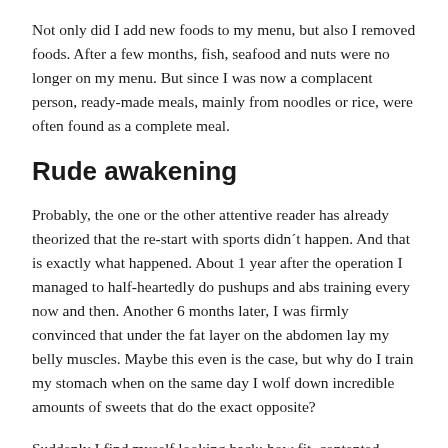Not only did I add new foods to my menu, but also I removed foods. After a few months, fish, seafood and nuts were no longer on my menu. But since I was now a complacent person, ready-made meals, mainly from noodles or rice, were often found as a complete meal.
Rude awakening
Probably, the one or the other attentive reader has already theorized that the re-start with sports didn´t happen. And that is exactly what happened. About 1 year after the operation I managed to half-heartedly do pushups and abs training every now and then. Another 6 months later, I was firmly convinced that under the fat layer on the abdomen lay my belly muscles. Maybe this even is the case, but why do I train my stomach when on the same day I wolf down incredible amounts of sweets that do the exact opposite?
Suddenly I find myself looking back; how fit, contented, lively and healthy I was. What happened to me? There were times when I wanted to eat sweets no more than 1x a month and now not a single day passes without me stuffing myself with a load of candies and other unhealthy foods. And such a bingeing session always takes place during a movie, series or